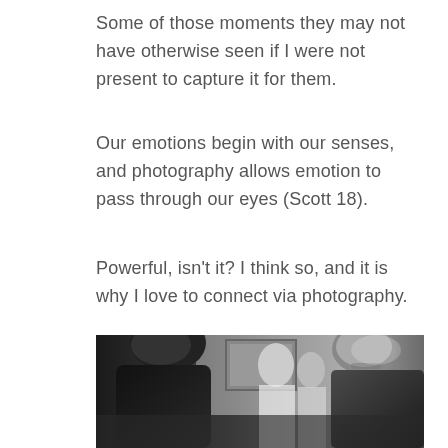Some of those moments they may not have otherwise seen if I were not present to capture it for them.
Our emotions begin with our senses, and photography allows emotion to pass through our eyes (Scott 18).
Powerful, isn't it? I think so, and it is why I love to connect via photography.
[Figure (photo): Black and white photograph of people seated in chairs viewed from behind, looking towards the front of a room where a framed artwork hangs on the wall. Several individuals, including an older woman with short grey hair on the right side, are visible.]